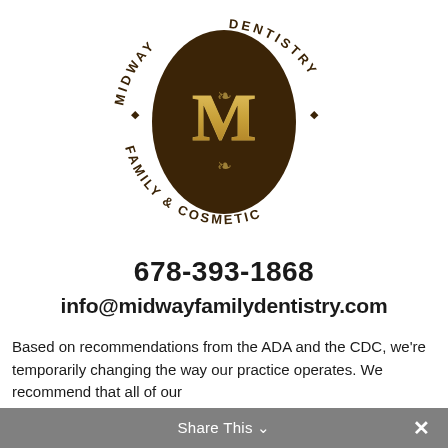[Figure (logo): Midway Family & Cosmetic Dentistry circular logo with dark brown oval background, ornate gold M monogram in center, text around oval reading MIDWAY FAMILY & COSMETIC DENTISTRY with diamond bullet separators]
678-393-1868
info@midwayfamilydentistry.com
Based on recommendations from the ADA and the CDC, we're temporarily changing the way our practice operates. We recommend that all of our
Share This